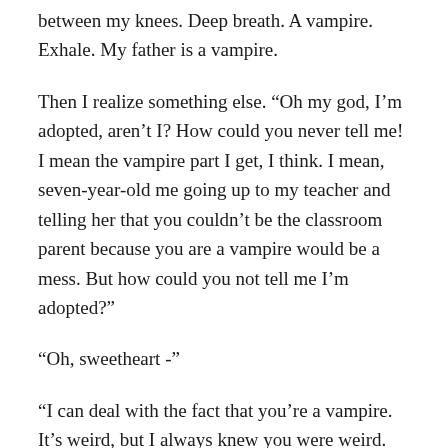between my knees. Deep breath. A vampire. Exhale. My father is a vampire.
“Oh my god, I’m adopted, aren’t I? How could you never tell me! I mean the vampire part I get, I think. I mean, seven-year-old me going up to my teacher and telling her that you couldn’t be the classroom parent because you are a vampire would be a mess. But how could you not tell me I’m adopted?”
“Oh, sweetheart -”
“I can deal with the fact that you’re a vampire. It’s weird, but I always knew you were weird. Who still wears bow ties? Aside from Doctor Who cos-players.”
“Jeanette -”